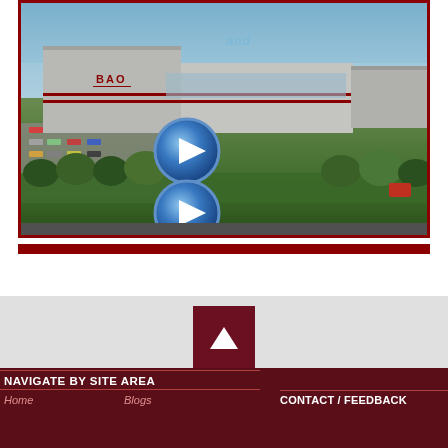[Figure (screenshot): Aerial photo of a large commercial/industrial building complex with parking lot and trees, with two overlapping blue play buttons and the word 'and' overlaid in light blue text. The building has a red BAO sign.]
[Figure (other): Dark red horizontal divider bar]
[Figure (other): Dark red square button with white upward-pointing triangle (scroll-to-top button)]
NAVIGATE BY SITE AREA
Home
Blogs
CONTACT / FEEDBACK